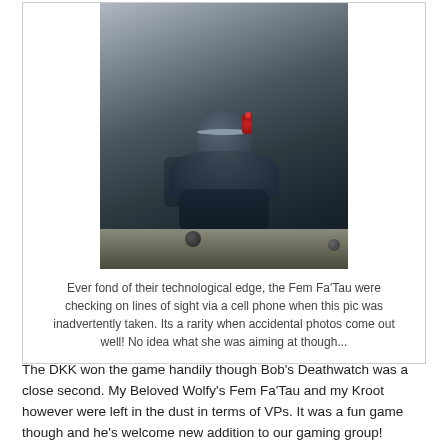[Figure (photo): Close-up photo of a painted miniature wargaming figure (Tau/Fem Fa'Tau) shot from behind/side, showing a rounded helmet with a red accent piece, dark armored body and backpack, resting on a modeled terrain surface. The background is blurred grey/dark.]
Ever fond of their technological edge, the Fem Fa'Tau were checking on lines of sight via a cell phone when this pic was inadvertently taken. Its a rarity when accidental photos come out well! No idea what she was aiming at though...
The DKK won the game handily though Bob's Deathwatch was a close second. My Beloved Wolfy's Fem Fa'Tau and my Kroot however were left in the dust in terms of VPs. It was a fun game though and he's welcome new addition to our gaming group!